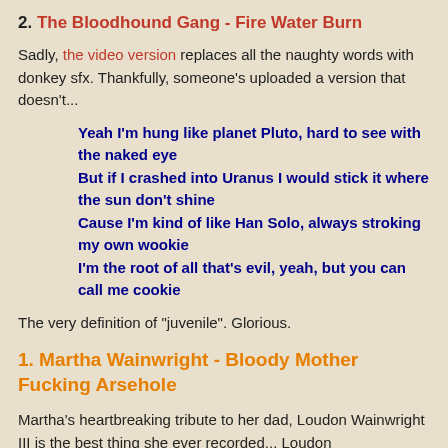2. The Bloodhound Gang - Fire Water Burn
Sadly, the video version replaces all the naughty words with donkey sfx. Thankfully, someone's uploaded a version that doesn't...
Yeah I'm hung like planet Pluto, hard to see with the naked eye
But if I crashed into Uranus I would stick it where the sun don't shine
Cause I'm kind of like Han Solo, always stroking my own wookie
I'm the root of all that's evil, yeah, but you can call me cookie
The very definition of "juvenile". Glorious.
1. Martha Wainwright - Bloody Mother Fucking Arsehole
Martha's heartbreaking tribute to her dad, Loudon Wainwright III is the best thing she ever recorded... Loudon